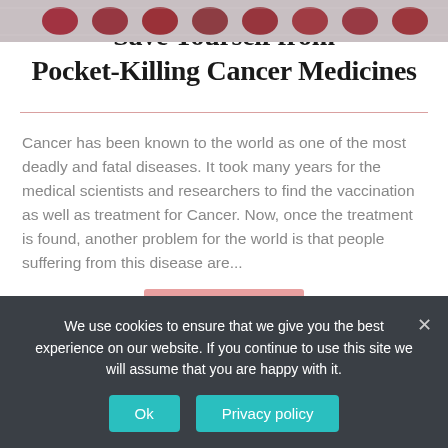[Figure (photo): Close-up photo of a blister pack of red/dark capsule pills]
Save Yourself from Pocket-Killing Cancer Medicines
Cancer has been known to the world as one of the most deadly and fatal diseases. It took many years for the medical scientists and researchers to find the vaccination as well as treatment for Cancer. Now, once the treatment is found, another problem for the world is that people suffering from this disease are...
We use cookies to ensure that we give you the best experience on our website. If you continue to use this site we will assume that you are happy with it.